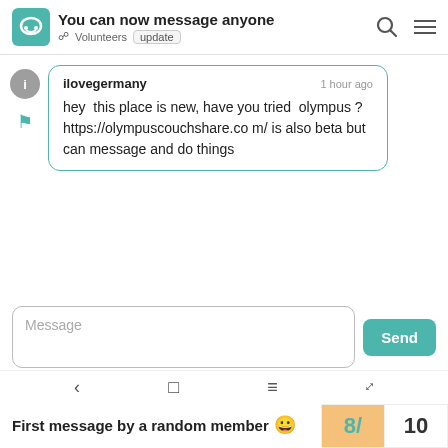You can now message anyone — Volunteers update
ilovegermany   1 hour ago
hey  this place is new, have you tried  olympus ? https://olympuscouchshare.com/ is also beta but can message and do things
Message
Send
First message by a random member 😀
8/10